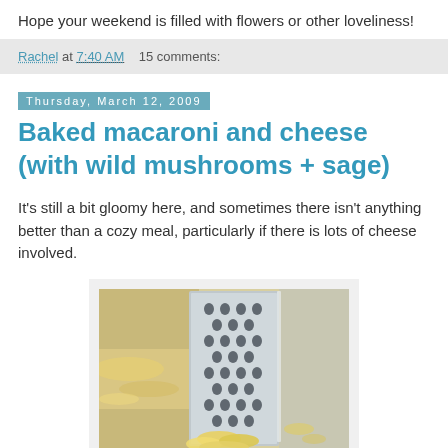Hope your weekend is filled with flowers or other loveliness!
Rachel at 7:40 AM   15 comments:
Thursday, March 12, 2009
Baked macaroni and cheese (with wild mushrooms + sage)
It's still a bit gloomy here, and sometimes there isn't anything better than a cozy meal, particularly if there is lots of cheese involved.
[Figure (photo): Photo of a box grater with shredded yellow cheese on a white surface]